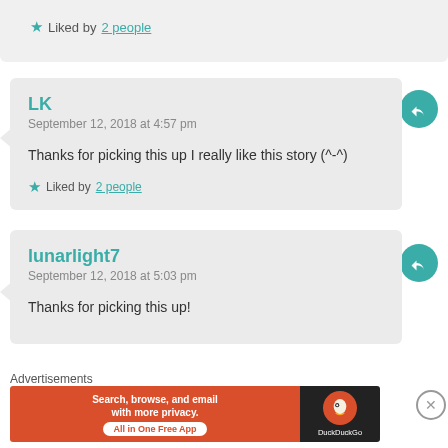Liked by 2 people
LK
September 12, 2018 at 4:57 pm
Thanks for picking this up I really like this story (^-^)
Liked by 2 people
lunarlight7
September 12, 2018 at 5:03 pm
Thanks for picking this up!
Advertisements
[Figure (screenshot): DuckDuckGo advertisement banner: orange section with text 'Search, browse, and email with more privacy. All in One Free App' and dark section with DuckDuckGo logo]